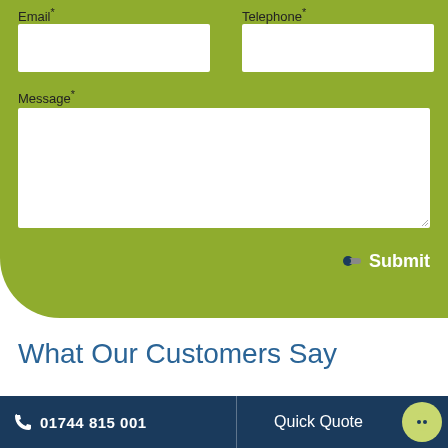Email*
Telephone*
Message*
Submit
What Our Customers Say
““
01744 815 001   Quick Quote